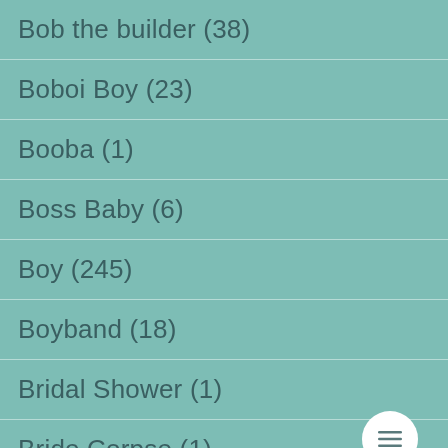Bob the builder (38)
Boboi Boy (23)
Booba (1)
Boss Baby (6)
Boy (245)
Boyband (18)
Bridal Shower (1)
Bride Corpse (1)